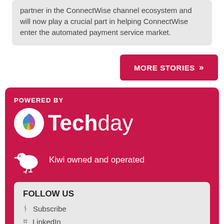partner in the ConnectWise channel ecosystem and will now play a crucial part in helping ConnectWise enter the automated payment service market.
MORE STORIES »
POWERED BY
[Figure (logo): Techday logo with colorful lightbulb icon and white text 'Techday']
Kiwi owned and operated
FOLLOW US
Subscribe
LinkedIn